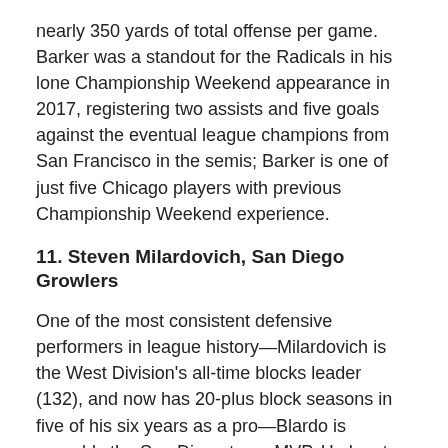nearly 350 yards of total offense per game. Barker was a standout for the Radicals in his lone Championship Weekend appearance in 2017, registering two assists and five goals against the eventual league champions from San Francisco in the semis; Barker is one of just five Chicago players with previous Championship Weekend experience.
11. Steven Milardovich, San Diego Growlers
One of the most consistent defensive performers in league history—Milardovich is the West Division's all-time blocks leader (132), and now has 20-plus block seasons in five of his six years as a pro—Blardo is arguably the San Diego team MVP. He has two different game-saving blocks from the regular season, and five straight games with at least two blocks. Able to guard backfield handlers and downfield cutters with equal skill, Milardovich's versatility has been central to